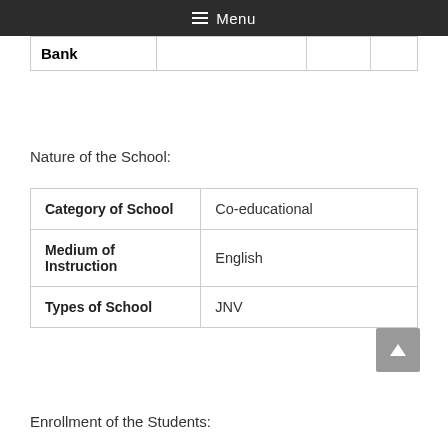Menu
| Bank |  |  |  |
| --- | --- | --- | --- |
|  |
Nature of the School:
| Category of School | Co-educational |
| --- | --- |
| Medium of Instruction | English |
| Types of School | JNV |
Enrollment of the Students: